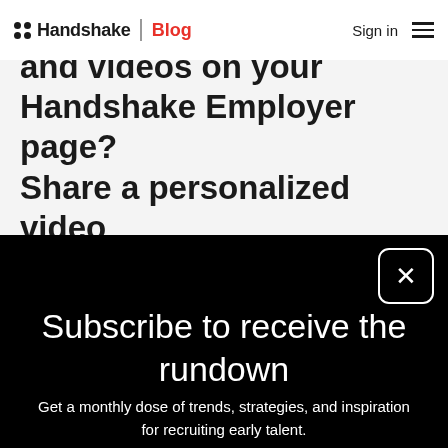hi Handshake | Blog  Sign in ☰
and videos on your Handshake Employer page? Share a personalized video
Subscribe to receive the rundown
Get a monthly dose of trends, strategies, and inspiration for recruiting early talent.
Work email